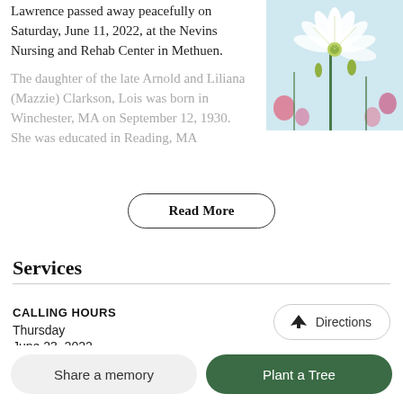Lawrence passed away peacefully on Saturday, June 11, 2022, at the Nevins Nursing and Rehab Center in Methuen.
The daughter of the late Arnold and Liliana (Mazzie) Clarkson, Lois was born in Winchester, MA on September 12, 1930. She was educated in Reading, MA
[Figure (photo): Close-up photo of a white cosmos flower with pink flowers in the background against a light blue sky]
Read More
Services
CALLING HOURS
Thursday
June 23, 2022
Directions
Share a memory
Plant a Tree